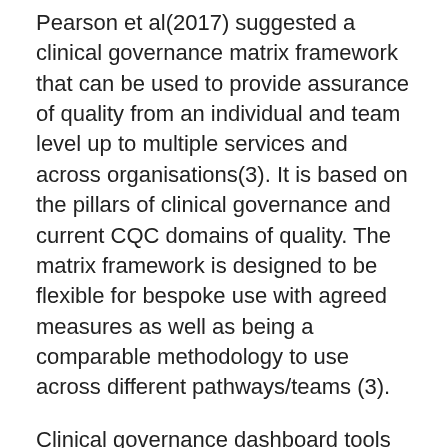Pearson et al(2017) suggested a clinical governance matrix framework that can be used to provide assurance of quality from an individual and team level up to multiple services and across organisations(3). It is based on the pillars of clinical governance and current CQC domains of quality. The matrix framework is designed to be flexible for bespoke use with agreed measures as well as being a comparable methodology to use across different pathways/teams (3).
Clinical governance dashboard tools can be transferable across disciplines, departments, trusts and organisations to assist with quality improvement (4). The principles and language are now very familiar and recognised by all professionals and departments working across the NHS. The NHS has been called upon to